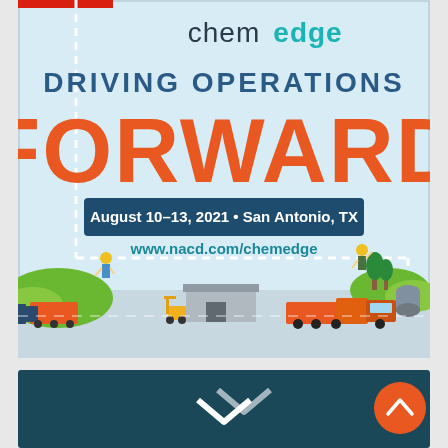[Figure (illustration): ChemEdge conference advertisement with logo, title 'Driving Operations Forward', date August 10-13 2021, San Antonio TX, website www.nacd.com/chemedge, illustrated road scene with trucks, forklift, train, workers, and green hills on light blue background]
[Figure (photo): Dark teal/navy background section at bottom with white diagonal arrow/chevron marks, and an orange circular scroll-to-top button with upward chevron]